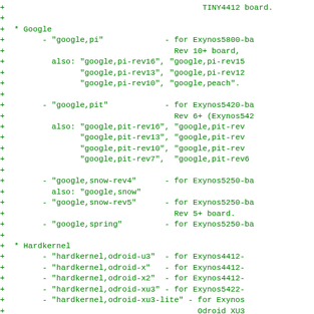Code diff showing device tree compatible strings for Google and Hardkernel boards (Exynos SoC families)